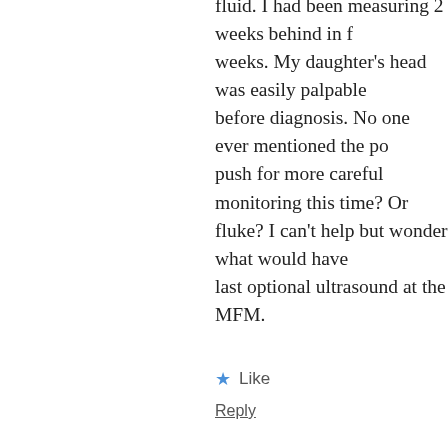fluid. I had been measuring 2 weeks behind in weeks. My daughter's head was easily palpable before diagnosis. No one ever mentioned the po push for more careful monitoring this time? Or fluke? I can't help but wonder what would have last optional ultrasound at the MFM.
Like
Reply
midwifethinking says:
April 27, 2014 at 5:26 pm
[Figure (photo): Avatar photo of midwifethinking commenter]
Hi Sarah
It depends on why you had oligo the firs to happen again... and you may not kno again. If you would feel reassured by in pregnancy then that is what you should